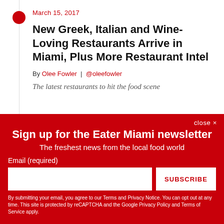March 15, 2017
New Greek, Italian and Wine-Loving Restaurants Arrive in Miami, Plus More Restaurant Intel
By Olee Fowler | @oleefowler
The latest restaurants to hit the food scene
Sign up for the Eater Miami newsletter
The freshest news from the local food world
Email (required)
SUBSCRIBE
By submitting your email, you agree to our Terms and Privacy Notice. You can opt out at any time. This site is protected by reCAPTCHA and the Google Privacy Policy and Terms of Service apply.